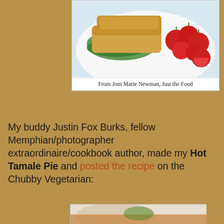[Figure (photo): Photo of a sandwich with greens and cherry tomatoes on a white plate, cropped at top]
From Joni Marie Newman, Just the Food
My buddy Justin Fox Burks, fellow Memphian/photographer extraordinaire/cookbook author, made my Hot Tamale Pie and posted the recipe on the Chubby Vegetarian:
[Figure (photo): Photo of Hot Tamale Pie dish with cilantro garnish and lime wedge]